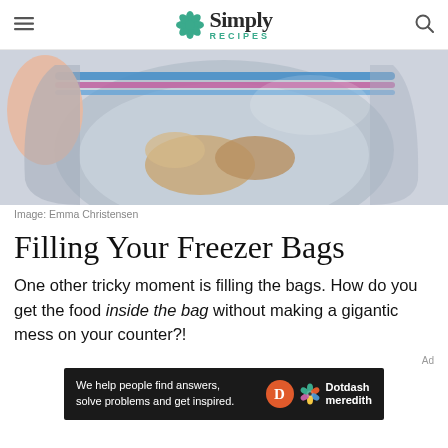Simply Recipes
[Figure (photo): Close-up photo of a zip-lock freezer bag being held open, with food visible inside, on a white marble surface]
Image: Emma Christensen
Filling Your Freezer Bags
One other tricky moment is filling the bags. How do you get the food inside the bag without making a gigantic mess on your counter?!
[Figure (infographic): Dotdash Meredith advertisement banner: 'We help people find answers, solve problems and get inspired.']